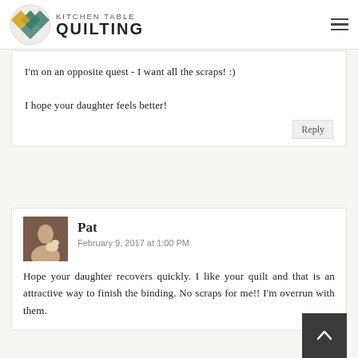Kitchen Table Quilting
February 9, 2011 · at 12:00 PM
I'm on an opposite quest - I want all the scraps! :)

I hope your daughter feels better!
Reply
Pat
February 9, 2017 at 1:00 PM
Hope your daughter recovers quickly. I like your quilt and that is an attractive way to finish the binding. No scraps for me!! I'm overrun with them.